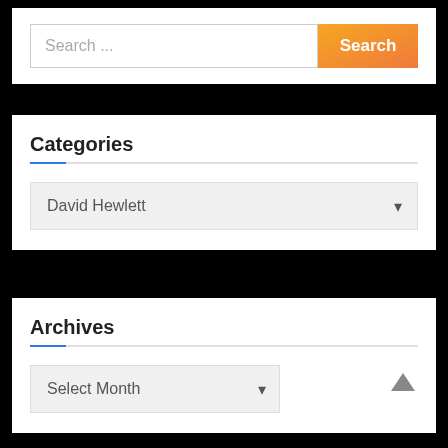[Figure (screenshot): Search bar widget with text input placeholder 'Search ...' and an orange gradient Search button]
Categories
[Figure (screenshot): Dropdown select box showing 'David Hewlett' with a chevron arrow]
Archives
[Figure (screenshot): Dropdown select box showing 'Select Month' with a chevron arrow]